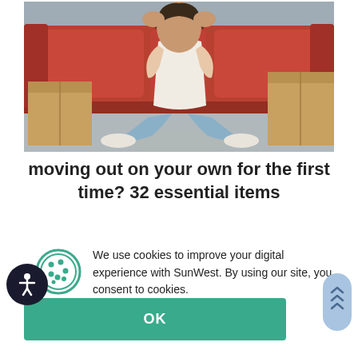[Figure (photo): A woman sitting cross-legged on the floor in front of a red couch, surrounded by cardboard moving boxes, holding her head in her hands. She is wearing jeans, a white tank top, and white sneakers.]
moving out on your own for the first time? 32 essential items
We use cookies to improve your digital experience with SunWest. By using our site, you consent to cookies.
Learn more
OK